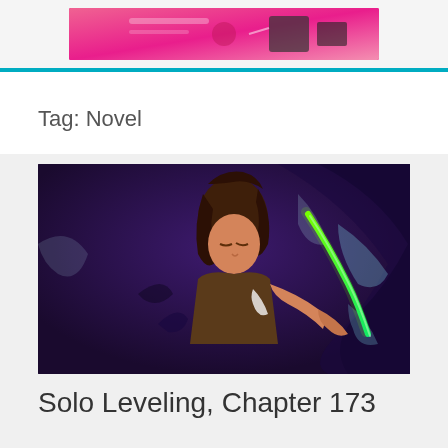[Figure (illustration): Pink/red banner advertisement image at top of webpage]
Tag: Novel
[Figure (illustration): Anime/manga style illustration of a character with dark hair wielding a glowing green sword against a dark swirling background, for Solo Leveling Chapter 173]
Solo Leveling, Chapter 173